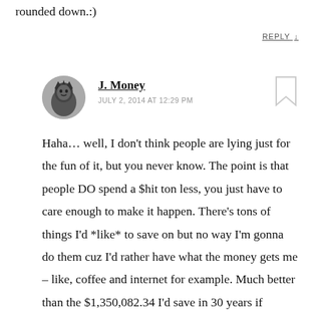rounded down.:)
REPLY ↓
J. Money
JULY 2, 2014 AT 12:29 PM
Haha… well, I don't think people are lying just for the fun of it, but you never know. The point is that people DO spend a $hit ton less, you just have to care enough to make it happen. There's tons of things I'd *like* to save on but no way I'm gonna do them cuz I'd rather have what the money gets me – like, coffee and internet for example. Much better than the $1,350,082.34 I'd save in 30 years if